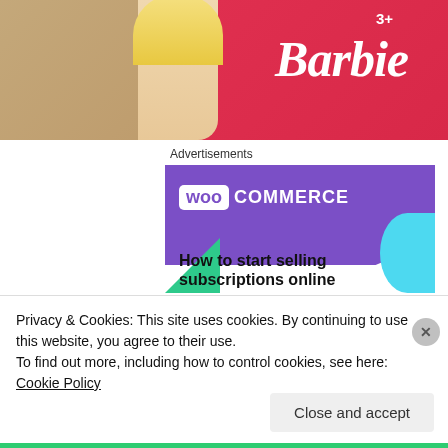[Figure (photo): Top portion of a Barbie toy box with Barbie logo and face visible, pink packaging, age rating 3+, set against a tan/beige background]
Advertisements
[Figure (screenshot): WooCommerce advertisement banner with purple background showing WooCommerce logo, green triangle accent, cyan circle accent, and headline text 'How to start selling subscriptions online']
Privacy & Cookies: This site uses cookies. By continuing to use this website, you agree to their use.
To find out more, including how to control cookies, see here: Cookie Policy
Close and accept